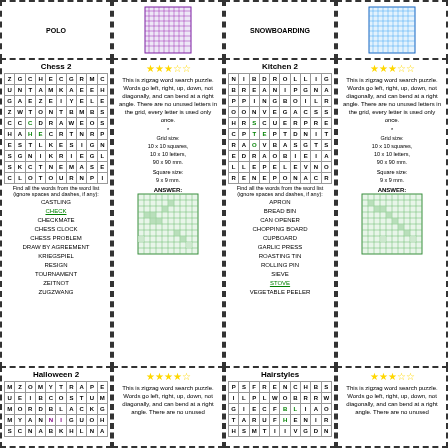POLO
[Figure (other): Word search puzzle grid purple]
SNOWBOARDING
[Figure (other): Word search puzzle grid blue]
Chess 2
[Figure (other): Chess 2 word search grid 10x10]
Find all the words from the word list (ignore spaces and dashes, if any):
CASTLING
CHECK
CHECKMATE
CHESS CLOCK
CHESS PROBLEM
DRAW BY AGREEMENT
KRIEGSPIEL
RESIGN
TOURNAMENT
ZEITNOT
ZUGZWANG
[Figure (other): Stars rating 3 of 5]
This is zigzag word search puzzle. Words go left, right, up, down, not diagonally, and can bend at a right angle. There are no unused letters in the grid, every letter is used only once.
Grid size: 10 x 10 squares, 10 x 10 letters, 90 x 90 mm.
Square size: 9 x 9 mm.
ANSWER:
[Figure (other): Answer grid green Chess 2]
Kitchen 2
[Figure (other): Kitchen 2 word search grid 10x10]
Find all the words from the word list (ignore spaces and dashes, if any):
APRON
BREAD BIN
CAN OPENER
CHOPPING BOARD
CUPBOARD
GARLIC PRESS
ROASTING TIN
ROLLING PIN
SIEVE
STOVE
VEGETABLE PEELER
[Figure (other): Stars rating 3 of 5]
This is zigzag word search puzzle. Words go left, right, up, down, not diagonally, and can bend at a right angle. There are no unused letters in the grid, every letter is used only once.
Grid size: 10 x 10 squares, 10 x 10 letters, 90 x 90 mm.
Square size: 9 x 9 mm.
ANSWER:
[Figure (other): Answer grid green Kitchen 2]
Halloween 2
[Figure (other): Halloween 2 word search grid partial]
[Figure (other): Stars rating 4 of 5]
This is zigzag word search puzzle. Words go left, right, up, down, not diagonally, and can bend at a right angle. There are no unused
Hairstyles
[Figure (other): Hairstyles word search grid partial]
[Figure (other): Stars rating 3 of 5]
This is zigzag word search puzzle. Words go left, right, up, down, not diagonally, and can bend at a right angle. There are no unused